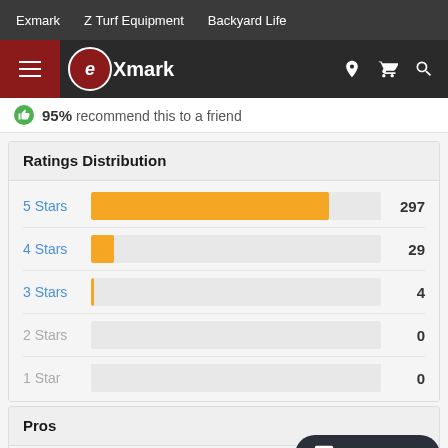Exmark | Z Turf Equipment | Backyard Life
[Figure (logo): Exmark logo with hamburger menu in red box, navigation icons for location, cart, search]
95% recommend this to a friend
Ratings Distribution
[Figure (bar-chart): Ratings Distribution]
Pros
Ask Exmark